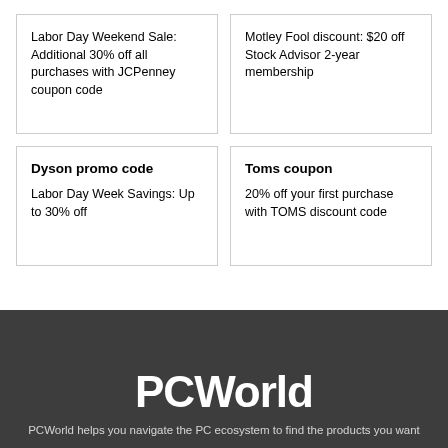Labor Day Weekend Sale: Additional 30% off all purchases with JCPenney coupon code
Motley Fool discount: $20 off Stock Advisor 2-year membership
Dyson promo code
Labor Day Week Savings: Up to 30% off
Toms coupon
20% off your first purchase with TOMS discount code
[Figure (logo): PCWorld logo in white text on dark grey background]
PCWorld helps you navigate the PC ecosystem to find the products you want